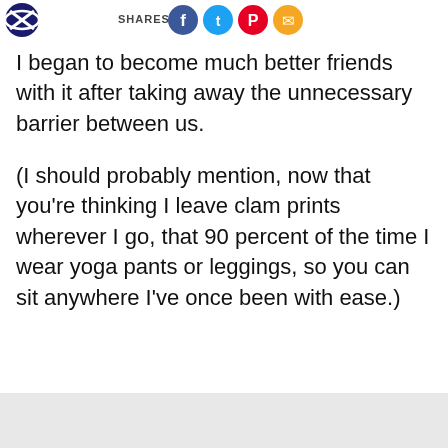SHARES
I began to become much better friends with it after taking away the unnecessary barrier between us.
(I should probably mention, now that you're thinking I leave clam prints wherever I go, that 90 percent of the time I wear yoga pants or leggings, so you can sit anywhere I've once been with ease.)